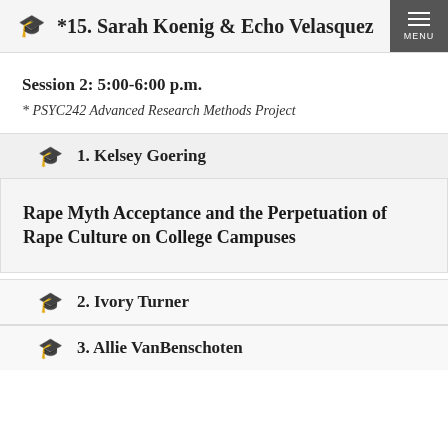*15. Sarah Koenig & Echo Velasquez
Session 2: 5:00-6:00 p.m.
* PSYC242 Advanced Research Methods Project
1. Kelsey Goering
Rape Myth Acceptance and the Perpetuation of Rape Culture on College Campuses
2. Ivory Turner
3. Allie VanBenschoten